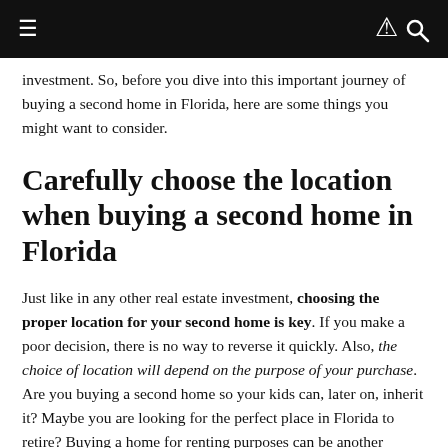≡  🔍
investment. So, before you dive into this important journey of buying a second home in Florida, here are some things you might want to consider.
Carefully choose the location when buying a second home in Florida
Just like in any other real estate investment, choosing the proper location for your second home is key. If you make a poor decision, there is no way to reverse it quickly. Also, the choice of location will depend on the purpose of your purchase. Are you buying a second home so your kids can, later on, inherit it? Maybe you are looking for the perfect place in Florida to retire? Buying a home for renting purposes can be another